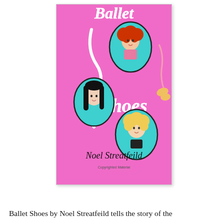[Figure (illustration): Book cover of 'Ballet Shoes' by Noel Streatfeild. Pink background with hand-lettered white script title 'Ballet Shoes'. Three oval portrait illustrations of girls: top center shows a red-haired girl in a pink top against blue background; left middle shows a girl with long black hair against blue background; bottom right shows a blonde curly-haired girl against blue background. Ballet shoes and ribbon hang on the right side. Author name 'Noel Streatfeild' in black hand-lettered script at the bottom. 'Copyrighted Material' text below author name.]
Ballet Shoes by Noel Streatfeild tells the story of the